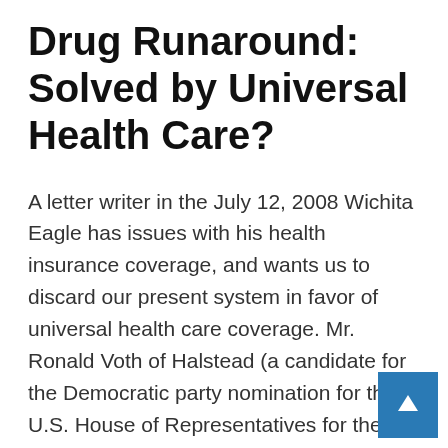Drug Runaround: Solved by Universal Health Care?
A letter writer in the July 12, 2008 Wichita Eagle has issues with his health insurance coverage, and wants us to discard our present system in favor of universal health care coverage. Mr. Ronald Voth of Halstead (a candidate for the Democratic party nomination for the U.S. House of Representatives for the fourth district of Kansas in 2006) criticizes the health insurance company he uses. He doesn't say how he obtained